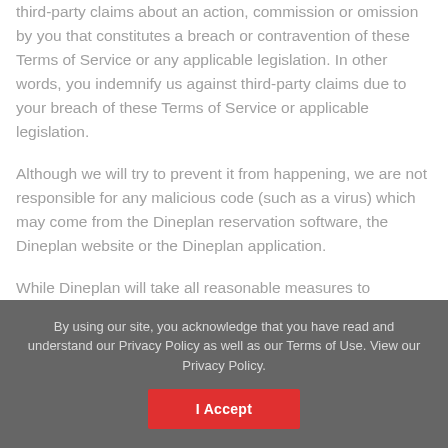third-party claims about an action, commission or omission by you that constitutes a breach or contravention of these Terms of Service or any applicable legislation. In other words, you indemnify us against third-party claims due to your breach of these Terms of Service or applicable legislation.
Although we will try to prevent it from happening, we are not responsible for any malicious code (such as a virus) which may come from the Dineplan reservation software, the Dineplan website or the Dineplan application.
While Dineplan will take all reasonable measures to
By using our site, you acknowledge that you have read and understand our Privacy Policy as well as our Terms of Use. View our Privacy Policy.